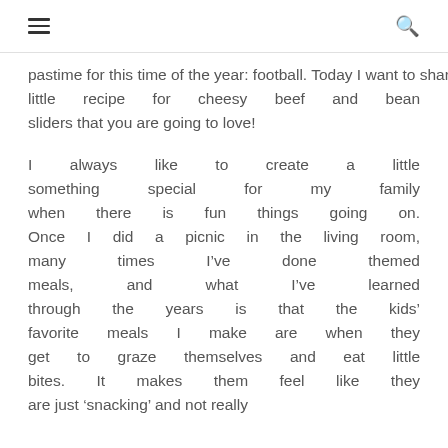[hamburger menu] [search icon]
pastime for this time of the year: football. Today I want to share a fun little recipe for cheesy beef and bean sliders that you are going to love!
I always like to create a little something special for my family when there is fun things going on. Once I did a picnic in the living room, many times I've done themed meals, and what I've learned through the years is that the kids' favorite meals I make are when they get to graze themselves and eat little bites. It makes them feel like they are just 'snacking' and not really